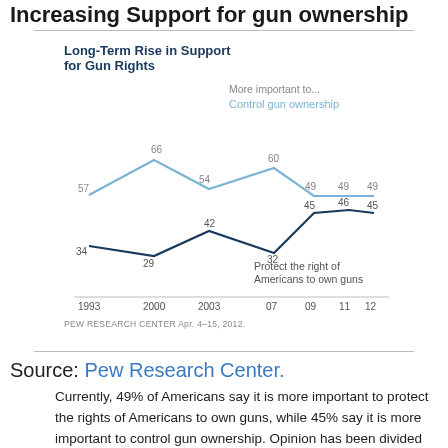Increasing Support for gun ownership
[Figure (line-chart): Long-Term Rise in Support for Gun Rights]
PEW RESEARCH CENTER Apr. 4–15, 2012.
Source: Pew Research Center.
Currently, 49% of Americans say it is more important to protect the rights of Americans to own guns, while 45% say it is more important to control gun ownership. Opinion has been divided